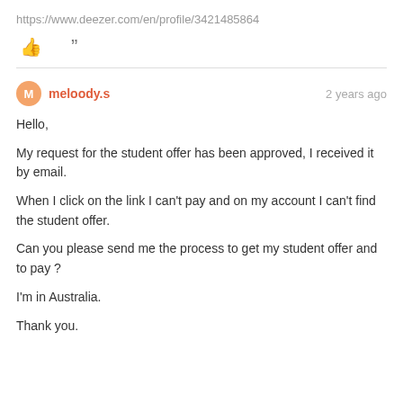https://www.deezer.com/en/profile/3421485864
👍  "
meloody.s   2 years ago

Hello,

My request for the student offer has been approved, I received it by email.

When I click on the link I can't pay and on my account I can't find the student offer.

Can you please send me the process to get my student offer and to pay ?

I'm in Australia.

Thank you.